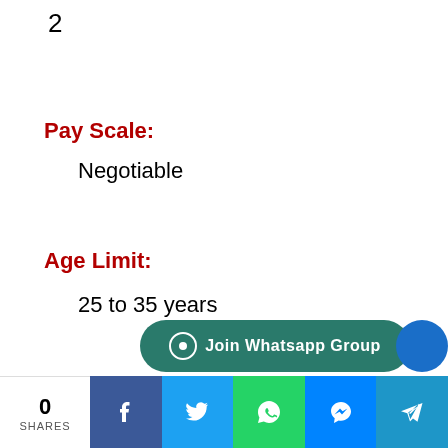2
Pay Scale:
Negotiable
Age Limit:
25 to 35 years
Educational Qualification:
Graduate with Computer knowledge.
0 SHARES | Join Whatsapp Group | Facebook | Twitter | WhatsApp | Messenger | Telegram